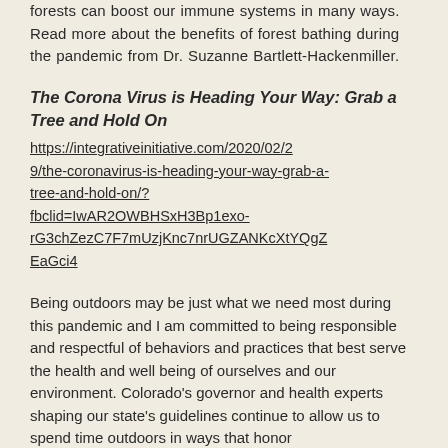forests can boost our immune systems in many ways. Read more about the benefits of forest bathing during the pandemic from Dr. Suzanne Bartlett-Hackenmiller.
The Corona Virus is Heading Your Way: Grab a Tree and Hold On
https://integrativeinitiative.com/2020/02/29/the-coronavirus-is-heading-your-way-grab-a-tree-and-hold-on/?fbclid=IwAR2OWBHSxH3Bp1exo-rG3chZezC7F7mUzjKnc7nrUGZANKcXtYQgZEaGci4
Being outdoors may be just what we need most during this pandemic and I am committed to being responsible and respectful of behaviors and practices that best serve the health and well being of ourselves and our environment. Colorado's governor and health experts shaping our state's guidelines continue to allow us to spend time outdoors in ways that honor